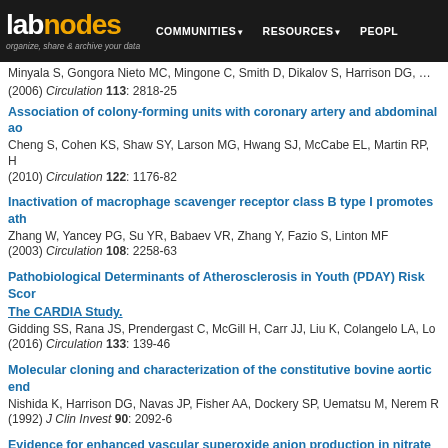labnodes | organize, share & archive your data | COMMUNITIES | RESOURCES | PEOPLE
Minyala S, Gongora Nieto MC, Mingone C, Smith D, Dikalov S, Harrison DG, … (2006) Circulation 113: 2818-25
Association of colony-forming units with coronary artery and abdominal ao… Cheng S, Cohen KS, Shaw SY, Larson MG, Hwang SJ, McCabe EL, Martin RP, H… (2010) Circulation 122: 1176-82
Inactivation of macrophage scavenger receptor class B type I promotes ath… Zhang W, Yancey PG, Su YR, Babaev VR, Zhang Y, Fazio S, Linton MF (2003) Circulation 108: 2258-63
Pathobiological Determinants of Atherosclerosis in Youth (PDAY) Risk Scor… The CARDIA Study. Gidding SS, Rana JS, Prendergast C, McGill H, Carr JJ, Liu K, Colangelo LA, Lo… (2016) Circulation 133: 139-46
Molecular cloning and characterization of the constitutive bovine aortic end… Nishida K, Harrison DG, Navas JP, Fisher AA, Dockery SP, Uematsu M, Nerem R… (1992) J Clin Invest 90: 2092-6
Evidence for enhanced vascular superoxide anion production in nitrate tole… Münzel T, Sayegh H, Freeman BA, Tarpey MM, Harrison DG (1995) J Clin Invest 95: 187-94
Macrophage lipoprotein lipase promotes foam cell formation and atherosc… Babaev VR, Fazio S, Gleaves LA, Carter KJ, Semenkovich CF, Linton MF (1999) J Clin Invest 100: 2part-785